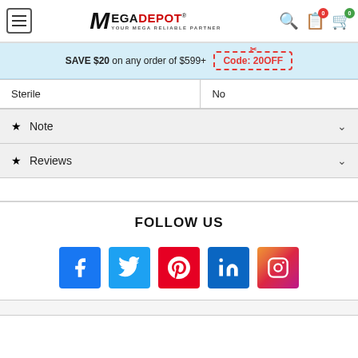MegaDepot — YOUR MEGA RELIABLE PARTNER
SAVE $20 on any order of $599+ Code: 20OFF
| Sterile | No |
| --- | --- |
Note
Reviews
FOLLOW US
[Figure (infographic): Social media icons: Facebook, Twitter, Pinterest, LinkedIn, Instagram]